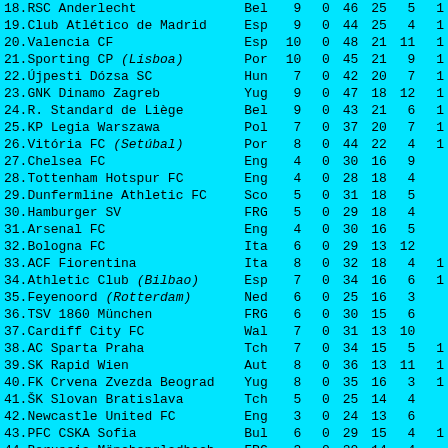| # | Club | Country | P1 | P2 | N1 | N2 | N3 | N4 |
| --- | --- | --- | --- | --- | --- | --- | --- | --- |
| 18. | RSC Anderlecht | Bel | 9 | 0 | 46 | 25 | 5 | 1... |
| 19. | Club Atlético de Madrid | Esp | 9 | 0 | 44 | 25 | 4 | 1... |
| 20. | Valencia CF | Esp | 10 | 0 | 48 | 21 | 11 | 1... |
| 21. | Sporting CP (Lisboa) | Por | 10 | 0 | 45 | 21 | 9 | 1... |
| 22. | Újpesti Dózsa SC | Hun | 7 | 0 | 42 | 20 | 7 | 1... |
| 23. | GNK Dinamo Zagreb | Yug | 9 | 0 | 47 | 18 | 12 | 1... |
| 24. | R. Standard de Liège | Bel | 9 | 0 | 43 | 21 | 6 | 1... |
| 25. | KP Legia Warszawa | Pol | 7 | 0 | 37 | 20 | 7 | 1... |
| 26. | Vitória FC (Setúbal) | Por | 8 | 0 | 44 | 22 | 4 | 1... |
| 27. | Chelsea FC | Eng | 4 | 0 | 30 | 16 | 9 | ... |
| 28. | Tottenham Hotspur FC | Eng | 4 | 0 | 28 | 18 | 4 | ... |
| 29. | Dunfermline Athletic FC | Sco | 5 | 0 | 31 | 18 | 5 | ... |
| 30. | Hamburger SV | FRG | 5 | 0 | 29 | 18 | 4 | ... |
| 31. | Arsenal FC | Eng | 4 | 0 | 30 | 16 | 5 | ... |
| 32. | Bologna FC | Ita | 6 | 0 | 29 | 13 | 12 | ... |
| 33. | ACF Fiorentina | Ita | 8 | 0 | 32 | 18 | 4 | 1... |
| 34. | Athletic Club (Bilbao) | Esp | 7 | 0 | 34 | 16 | 6 | 1... |
| 35. | Feyenoord (Rotterdam) | Ned | 6 | 0 | 25 | 16 | 3 | ... |
| 36. | TSV 1860 München | FRG | 6 | 0 | 30 | 15 | 6 | ... |
| 37. | Cardiff City FC | Wal | 7 | 0 | 31 | 13 | 10 | ... |
| 38. | AC Sparta Praha | Tch | 7 | 0 | 34 | 15 | 5 | 1... |
| 39. | SK Rapid Wien | Aut | 8 | 0 | 36 | 13 | 11 | 1... |
| 40. | FK Crvena Zvezda Beograd | Yug | 8 | 0 | 35 | 16 | 3 | 1... |
| 41. | ŠK Slovan Bratislava | Tch | 5 | 0 | 25 | 14 | 4 |  |
| 42. | Newcastle United FC | Eng | 3 | 0 | 24 | 13 | 6 |  |
| 43. | PFC CSKA Sofia | Bul | 6 | 0 | 29 | 15 | 4 | 1... |
| 44. | Borussia Mönchengladbach | FRG | 3 | 0 | 20 | 14 | 4 | ... |
| 45. | Dukla Praha | Tch | 6 | 0 | 27 | 13 | 6 | ... |
| 46. | Borussia Dortmund | FRG | 4 | 0 | 23 | 12 | 3 | ... |
| 47. | FC Spartak Trnava | Tch | 6 | 0 | 28 | 13 | 4 | ... |